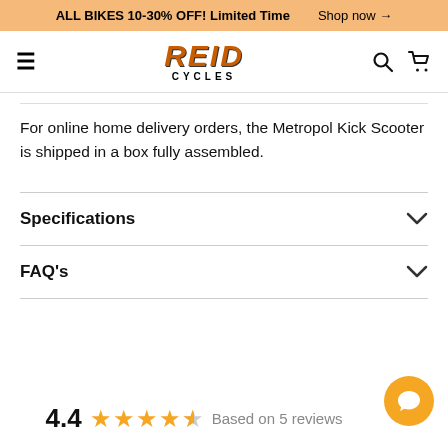ALL BIKES 10-30% OFF! Limited Time   Shop now →
[Figure (logo): Reid Cycles logo with hamburger menu, search and cart icons]
For online home delivery orders, the Metropol Kick Scooter is shipped in a box fully assembled.
Specifications
FAQ's
4.4  ★★★★½  Based on 5 reviews